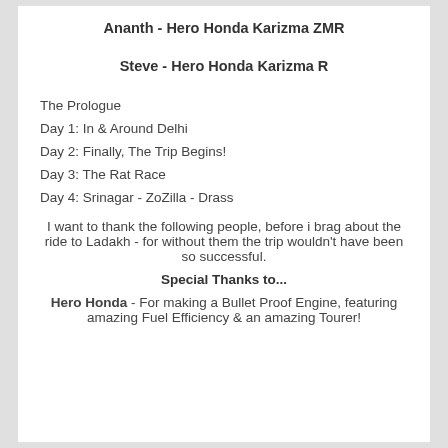Ananth - Hero Honda Karizma ZMR
Steve - Hero Honda Karizma R
The Prologue
Day 1: In & Around Delhi
Day 2: Finally, The Trip Begins!
Day 3: The Rat Race
Day 4: Srinagar - ZoZilla - Drass
I want to thank the following people, before i brag about the ride to Ladakh - for without them the trip wouldn't have been so successful.
Special Thanks to...
Hero Honda - For making a Bullet Proof Engine, featuring amazing Fuel Efficiency & an amazing Tourer!